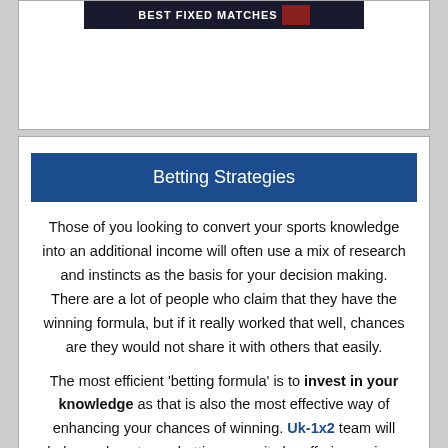[Figure (photo): Banner image with text 'BEST FIXED MATCHES' on dark background]
Betting Strategies
Those of you looking to convert your sports knowledge into an additional income will often use a mix of research and instincts as the basis for your decision making. There are a lot of people who claim that they have the winning formula, but if it really worked that well, chances are they would not share it with others that easily.
The most efficient ‘betting formula’ is to invest in your knowledge as that is also the most effective way of enhancing your chances of winning. Uk-1x2 team will help you boost your betting capacity by offering various betting strategies and guides where you are sure to find some useful tricks of the trade to help you polish your betting tactics. Have no worries